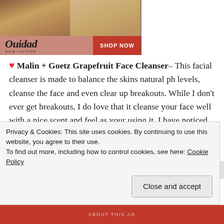[Figure (photo): Ouidad hair care advertisement banner with two women models and a 'Shop Now' button on a pinkish-red background]
❤ Malin + Goetz Grapefruit Face Cleanser– This facial cleanser is made to balance the skins natural ph levels, cleanse the face and even clear up breakouts. While I don't ever get breakouts, I do love that it cleanse your face well with a nice scent and feel as your using it. I have noticed that my face looks more refreshed after application, and feels softer for a longer amount of time after using it. I would recommend this to anyone with sensitive skin, or breakouts, or anyone
Privacy & Cookies: This site uses cookies. By continuing to use this website, you agree to their use.
To find out more, including how to control cookies, see here: Cookie Policy